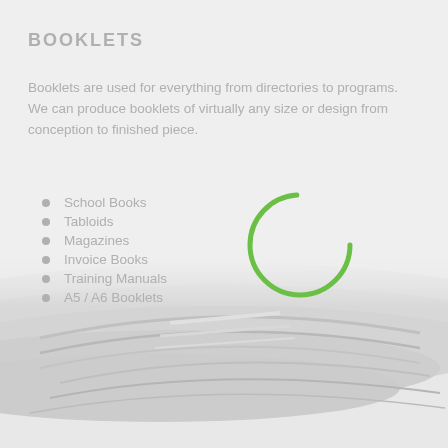BOOKLETS
Booklets are used for everything from directories to programs. We can produce booklets of virtually any size or design from conception to finished piece.
School Books
Tabloids
Magazines
Invoice Books
Training Manuals
A5 / A6 Booklets
[Figure (photo): Stack of rolled/folded printed booklets or magazines photographed from above, shown in grayscale/faded style at the bottom of the page.]